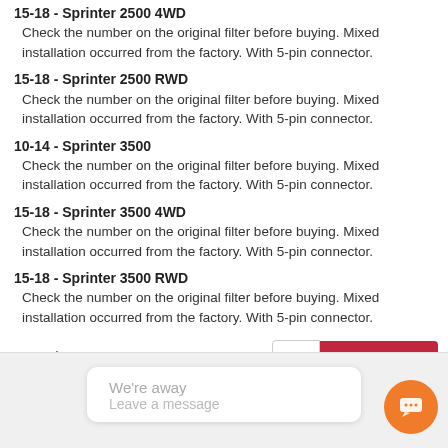15-18 - Sprinter 2500 4WD
Check the number on the original filter before buying. Mixed installation occurred from the factory. With 5-pin connector.
15-18 - Sprinter 2500 RWD
Check the number on the original filter before buying. Mixed installation occurred from the factory. With 5-pin connector.
10-14 - Sprinter 3500
Check the number on the original filter before buying. Mixed installation occurred from the factory. With 5-pin connector.
15-18 - Sprinter 3500 4WD
Check the number on the original filter before buying. Mixed installation occurred from the factory. With 5-pin connector.
15-18 - Sprinter 3500 RWD
Check the number on the original filter before buying. Mixed installation occurred from the factory. With 5-pin connector.
Sale $107.99
Reg $112.49
In Stock - Leaves warehouse within 1-2 business days.